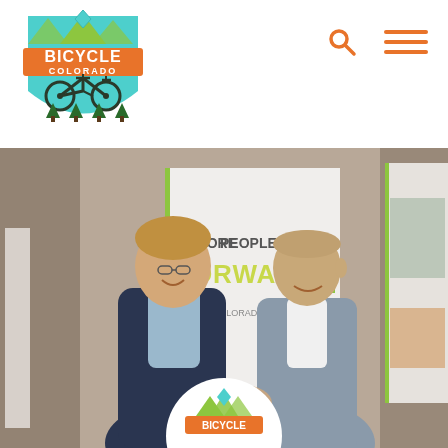[Figure (logo): Bicycle Colorado shield logo with teal bicycle and green mountains on orange/green banner]
[Figure (photo): Two men in business attire shaking hands/posing in front of a Bicycle Colorado event banner reading 'More People Forward'. One man on left wearing dark blazer with light blue shirt, the other on right wearing grey suit. A circular Bicycle Colorado logo overlay is at the bottom center of the photo.]
[Figure (logo): Bicycle Colorado logo in circular overlay at bottom of photo]